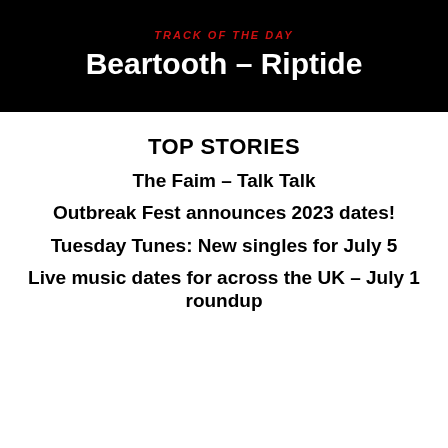TRACK OF THE DAY
Beartooth – Riptide
TOP STORIES
The Faim – Talk Talk
Outbreak Fest announces 2023 dates!
Tuesday Tunes: New singles for July 5
Live music dates for across the UK – July 1 roundup